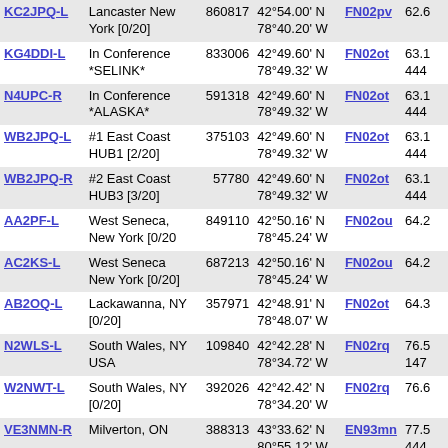| Callsign | Location | Number | Coordinates | Grid | Dist |
| --- | --- | --- | --- | --- | --- |
| KC2JPQ-L | Lancaster New York [0/20] | 860817 | 42°54.00' N 78°40.20' W | FN02pv | 62.6 |
| KG4DDI-L | In Conference *SELINK* | 833006 | 42°49.60' N 78°49.32' W | FN02ot | 63.1 444 |
| N4UPC-R | In Conference *ALASKA* | 591318 | 42°49.60' N 78°49.32' W | FN02ot | 63.1 444 |
| WB2JPQ-L | #1 East Coast HUB1 [2/20] | 375103 | 42°49.60' N 78°49.32' W | FN02ot | 63.1 444 |
| WB2JPQ-R | #2 East Coast HUB3 [3/20] | 57780 | 42°49.60' N 78°49.32' W | FN02ot | 63.1 444 |
| AA2PF-L | West Seneca, New York [0/20 | 849110 | 42°50.16' N 78°45.24' W | FN02ou | 64.2 |
| AC2KS-L | West Seneca New York [0/20] | 687213 | 42°50.16' N 78°45.24' W | FN02ou | 64.2 |
| AB2OQ-L | Lackawanna, NY [0/20] | 357971 | 42°48.91' N 78°48.07' W | FN02ot | 64.3 |
| N2WLS-L | South Wales, NY USA | 109840 | 42°42.28' N 78°34.72' W | FN02rq | 76.5 147 |
| W2NWT-L | South Wales, NY [0/20] | 392026 | 42°42.42' N 78°34.20' W | FN02rq | 76.6 |
| VE3NMN-R | Milverton, ON | 388313 | 43°33.62' N 80°55.12' W | EN93mn | 77.5 444 |
| VE3RTY-R | Colborne, Ontario [0/20] | 429411 | 44°02.75' N 77°52.06' W | FN14bb | 80.1 |
| VE3PBO-R | Peterborough, ON [0/20] | 891471 | 44°17.42' N 78°00.00' W | FN14ag | 81.7 |